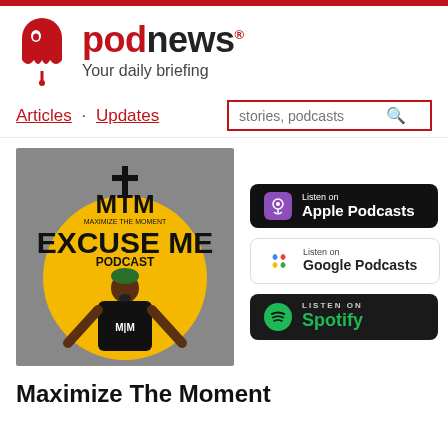[Figure (logo): Podnews logo with red drip ghost icon and text podnews with tagline Your daily briefing]
Articles · Updates
[Figure (screenshot): Search box with placeholder text 'stories, podcasts' and a search icon, outlined in red]
[Figure (illustration): Podcast cover art: MTM Maximize The Moment - Excuse Me Podcast, showing a man in black MTM shirt shouting, yellow circle background, gray surround]
[Figure (logo): Listen on Apple Podcasts button - black background]
[Figure (logo): Listen on Google Podcasts button - white background]
[Figure (logo): Listen on Spotify button - dark background with green Spotify text]
Maximize The Moment